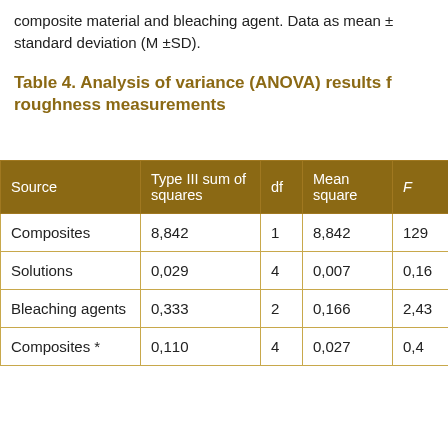composite material and bleaching agent. Data as mean ± standard deviation (M ±SD).
Table 4. Analysis of variance (ANOVA) results f roughness measurements
| Source | Type III sum of squares | df | Mean square | F |
| --- | --- | --- | --- | --- |
| Composites | 8,842 | 1 | 8,842 | 129 |
| Solutions | 0,029 | 4 | 0,007 | 0,16 |
| Bleaching agents | 0,333 | 2 | 0,166 | 2,43 |
| Composites * | 0,110 | 4 | 0,027 | 0,4 |